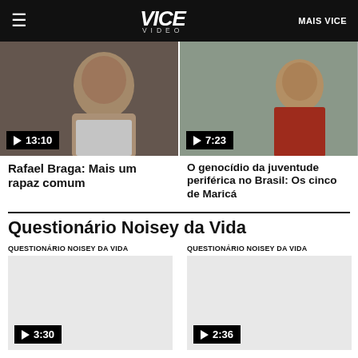VICE VIDEO | MAIS VICE
[Figure (screenshot): Video thumbnail: Rafael Braga: Mais um rapaz comum, duration 13:10]
[Figure (screenshot): Video thumbnail: O genocídio da juventude periférica no Brasil: Os cinco de Maricá, duration 7:23]
Rafael Braga: Mais um rapaz comum
O genocídio da juventude periférica no Brasil: Os cinco de Maricá
Questionário Noisey da Vida
QUESTIONÁRIO NOISEY DA VIDA
QUESTIONÁRIO NOISEY DA VIDA
[Figure (screenshot): Video thumbnail placeholder, duration 3:30]
[Figure (screenshot): Video thumbnail placeholder, duration 2:36]